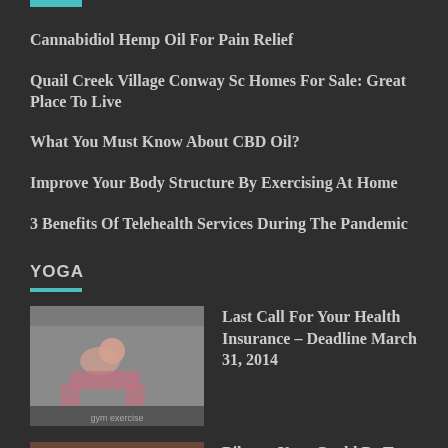Cannabidiol Hemp Oil For Pain Relief
Quail Creek Village Conway Sc Homes For Sale: Great Place To Live
What You Must Know About CBD Oil?
Improve Your Body Structure By Exercising At Home
3 Benefits Of Telehealth Services During The Pandemic
YOGA
[Figure (photo): Woman doing a plank exercise in a gym, wearing pink workout clothes]
Last Call For Your Health Insurance – Deadline March 31, 2014
[Figure (photo): Overhead view of various food bowls with healthy ingredients on a dark surface]
Bikram Yoga Could Be Too Tough For Pregnant Mothers